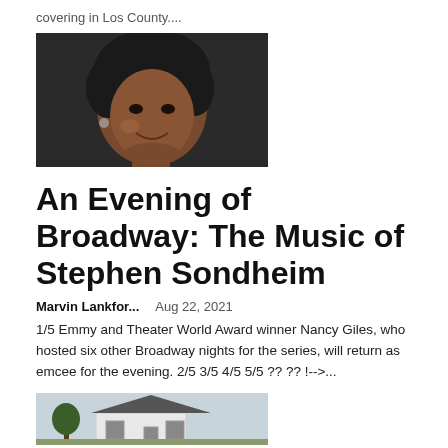covering in Los County....
[Figure (photo): Portrait photo of a woman with natural curly hair, smiling, against a dark background.]
An Evening of Broadway: The Music of Stephen Sondheim
Marvin Lankfor...   Aug 22, 2021
1/5 Emmy and Theater World Award winner Nancy Giles, who hosted six other Broadway nights for the series, will return as emcee for the evening. 2/5 3/5 4/5 5/5 ?? ?? !-->...
[Figure (photo): Partial photo of a white house with a dark roof and trees, against a light sky.]